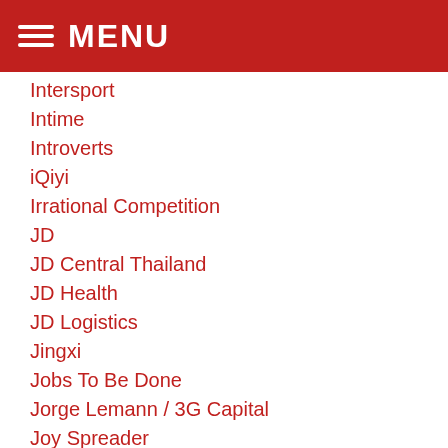MENU
Intersport
Intime
Introverts
iQiyi
Irrational Competition
JD
JD Central Thailand
JD Health
JD Logistics
Jingxi
Jobs To Be Done
Jorge Lemann / 3G Capital
Joy Spreader
Juhuasuan
KE Holdings / Beike / Lianjia
Keith Meister / Corvex
KFC / Yum!
Kingsoft Cloud
Kroger
Kuaishou